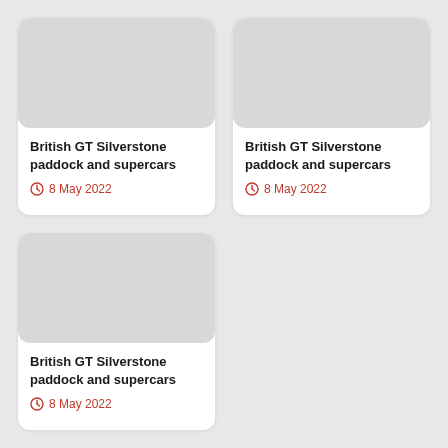[Figure (photo): Placeholder image thumbnail for British GT Silverstone article (top left)]
British GT Silverstone paddock and supercars
8 May 2022
[Figure (photo): Placeholder image thumbnail for British GT Silverstone article (top right)]
British GT Silverstone paddock and supercars
8 May 2022
[Figure (photo): Placeholder image thumbnail for British GT Silverstone article (bottom left)]
British GT Silverstone paddock and supercars
8 May 2022